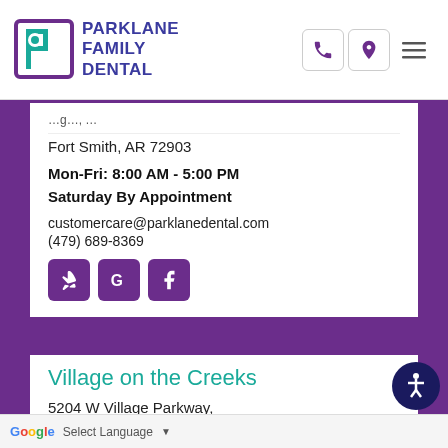Parklane Family Dental — logo and navigation icons (phone, location, menu)
Fort Smith, AR 72903
Mon-Fri: 8:00 AM - 5:00 PM
Saturday By Appointment
customercare@parklanedental.com
(479) 689-8369
[Figure (illustration): Three purple square social media buttons: Yelp, Google, Facebook]
Village on the Creeks
5204 W Village Parkway,
#17 Rogers, AR 72758
Google Select Language ▼